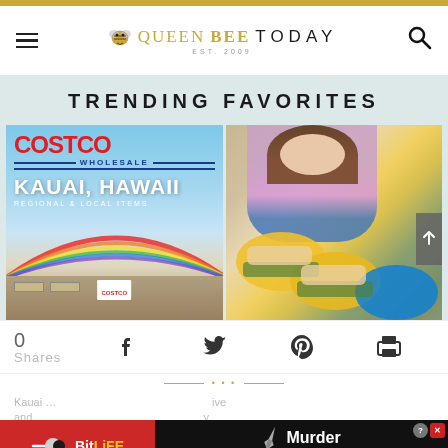Queen Bee Today — Est. 2009
TRENDING FAVORITES
[Figure (photo): Costco Wholesale Kauai, Hawaii Regional & Local Items promotional image with store building and rainbow]
[Figure (photo): Young girl presenting three plates of fish with green beans on yellow plates]
0 Shares
[Figure (infographic): BitLife advertisement banner — Murder Do it!]
Kauai … and …